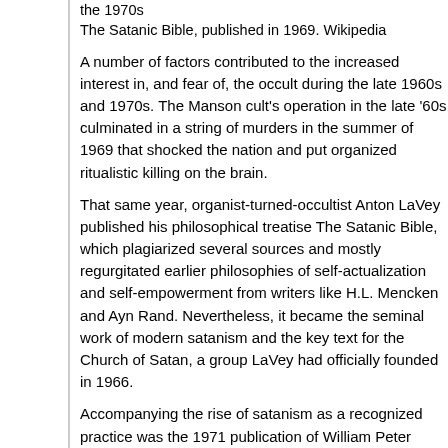the 1970s
The Satanic Bible, published in 1969. Wikipedia
A number of factors contributed to the increased interest in, and fear of, the occult during the late 1960s and 1970s. The Manson cult's operation in the late '60s culminated in a string of murders in the summer of 1969 that shocked the nation and put organized ritualistic killing on the brain.
That same year, organist-turned-occultist Anton LaVey published his philosophical treatise The Satanic Bible, which plagiarized several sources and mostly regurgitated earlier philosophies of self-actualization and self-empowerment from writers like H.L. Mencken and Ayn Rand. Nevertheless, it became the seminal work of modern satanism and the key text for the Church of Satan, a group LaVey had officially founded in 1966.
Accompanying the rise of satanism as a recognized practice was the 1971 publication of William Peter Blatty's bestselling novel The Exorcist and its blockbuster 1973 film adaptation. With its claims of being based on a true story, The Exorcist profoundly impacted America's collective psyche regarding the existence of demons, and single-handedly transformed the popular Ouija board from a fun, harmless parlor game to a malevolent device capable of inducing spirit possession, demonic infestation, or other paranormal activity.